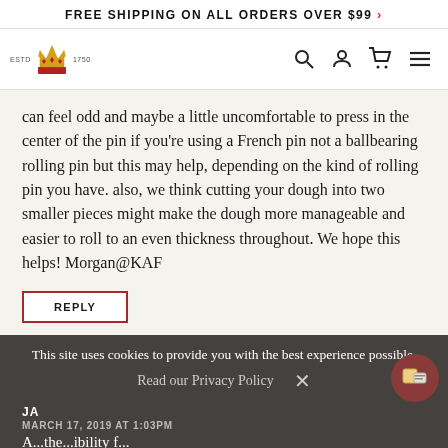FREE SHIPPING ON ALL ORDERS OVER $99 >
[Figure (logo): King Arthur Flour logo with crown icon, ESTD 1750 text and navigation icons (search, account, cart, menu)]
can feel odd and maybe a little uncomfortable to press in the center of the pin if you're using a French pin not a ballbearing rolling pin but this may help, depending on the kind of rolling pin you have. also, we think cutting your dough into two smaller pieces might make the dough more manageable and easier to roll to an even thickness throughout. We hope this helps! Morgan@KAF
REPLY
This site uses cookies to provide you with the best experience possible.
Read our Privacy Policy
JA
MARCH 17, 2019 AT 1:03PM
A...the...ibility for...and...n...thic...